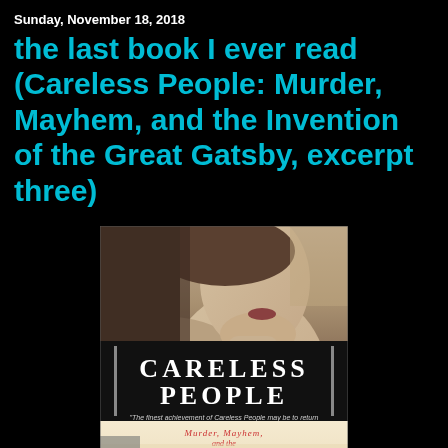Sunday, November 18, 2018
the last book I ever read (Careless People: Murder, Mayhem, and the Invention of the Great Gatsby, excerpt three)
[Figure (photo): Book cover of 'Careless People: Murder, Mayhem, and the Invention of the Great Gatsby' by Sarah Churchwell. Top half shows a sepia-toned photo of a woman's face in profile. Bottom half features a black banner with white serif text 'CARELESS PEOPLE' and a quote from Wall Street Journal, overlaid on a cream-colored lower section with red and black text listing the subtitle and author name.]